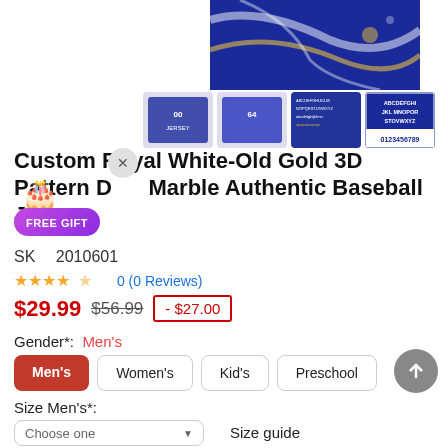[Figure (photo): Blue marble pattern baseball jersey product images — main image top right showing blue/gold marble texture, plus four thumbnails: two jersey views, one spec sheet, one font/number chart showing ABCDEFGHI JKL MNOPOR STOVWXYZ 0123456789]
Custom Royal White-Old Gold 3D Pattern Desub Marble Authentic Baseball Jersey
SKU: 2010601
0 (0 Reviews)
$29.99  $56.99  - $27.00
Gender*:  Men's
Men's
Women's
Kid's
Preschool
Size Men's*:
Choose one
Size guide